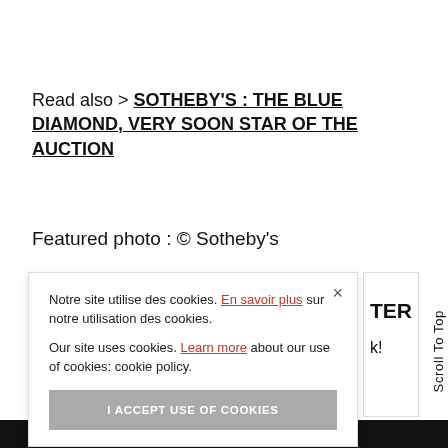Read also > SOTHEBY'S : THE BLUE DIAMOND, VERY SOON STAR OF THE AUCTION
Featured photo : © Sotheby's
Notre site utilise des cookies. En savoir plus sur notre utilisation des cookies.

Our site uses cookies. Learn more about our use of cookies: cookie policy.

I ACCEPT USE OF COOKIES